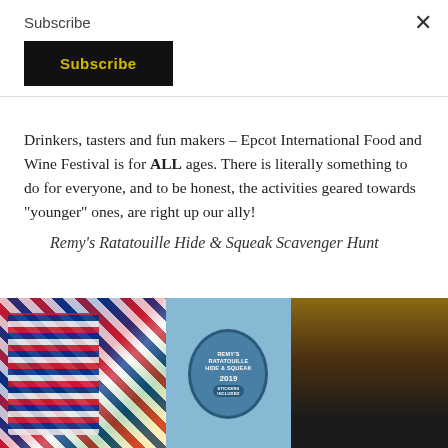Subscribe
[Figure (other): Black Subscribe button with yellow bold text 'Subscribe']
Drinkers, tasters and fun makers – Epcot International Food and Wine Festival is for ALL ages. There is literally something to do for everyone, and to be honest, the activities geared towards "younger" ones, are right up our ally!
Remy's Ratatouille Hide & Squeak Scavenger Hunt
[Figure (photo): Photo showing colorful international flag-patterned bags on the left, a blue oval sign reading 'REMY'S RATATOUILLE HIDE & SQUEAK 2019' in the center, and a black bag on the right on a wooden surface]